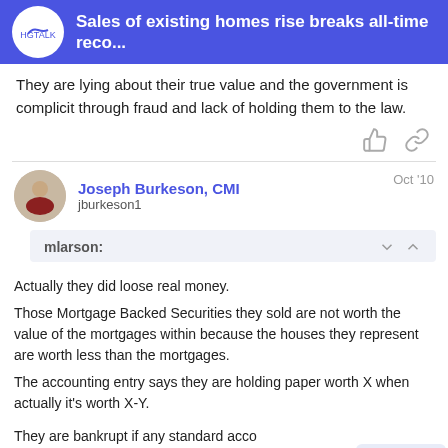Sales of existing homes rise breaks all-time reco...
They are lying about their true value and the government is complicit through fraud and lack of holding them to the law.
Joseph Burkeson, CMI
jburkeson1
Oct '10
mlarson:
Actually they did loose real money.

Those Mortgage Backed Securities they sold are not worth the value of the mortgages within because the houses they represent are worth less than the mortgages.

The accounting entry says they are holding paper worth X when actually it's worth X-Y.

They are bankrupt if any standard acco... followed.
20 / 27